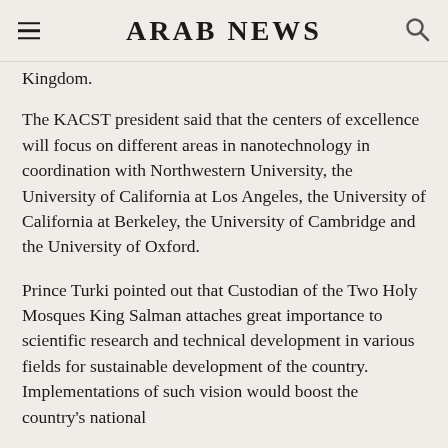ARAB NEWS
Kingdom.
The KACST president said that the centers of excellence will focus on different areas in nanotechnology in coordination with Northwestern University, the University of California at Los Angeles, the University of California at Berkeley, the University of Cambridge and the University of Oxford.
Prince Turki pointed out that Custodian of the Two Holy Mosques King Salman attaches great importance to scientific research and technical development in various fields for sustainable development of the country. Implementations of such vision would boost the country's national